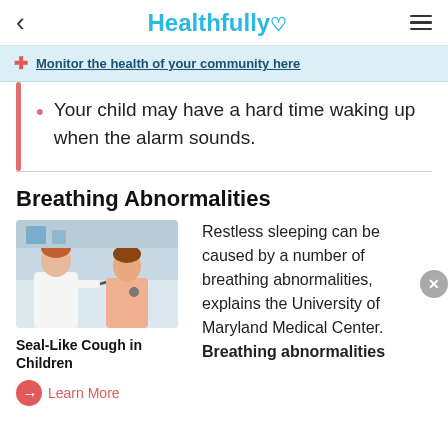< Healthfully ♡ ≡
Monitor the health of your community here
Your child may have a hard time waking up when the alarm sounds.
Breathing Abnormalities
[Figure (photo): A doctor using a stethoscope to examine a child patient]
Seal-Like Cough in Children
Learn More
Restless sleeping can be caused by a number of breathing abnormalities, explains the University of Maryland Medical Center. Breathing abnormalities